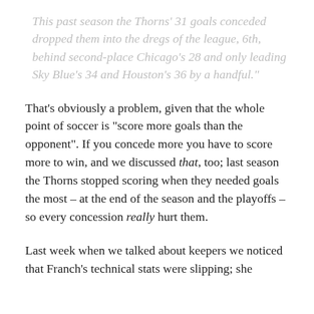This past season the Thorns' 31 goals conceded dropped them into the dregs of the league, 6th, behind second-place Chicago's 28 and only leading Sky Blue's 34 and Houston's 36 by a handful."
That's obviously a problem, given that the whole point of soccer is "score more goals than the opponent". If you concede more you have to score more to win, and we discussed that, too; last season the Thorns stopped scoring when they needed goals the most – at the end of the season and the playoffs – so every concession really hurt them.
Last week when we talked about keepers we noticed that Franch's technical stats were slipping; she